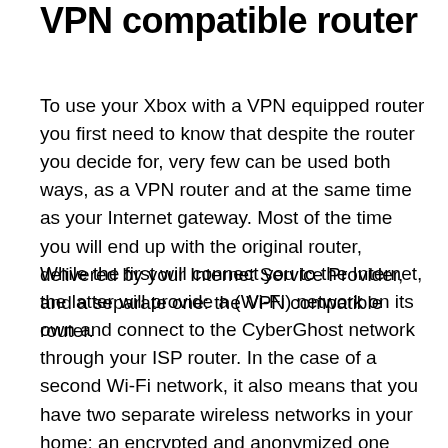VPN compatible router
To use your Xbox with a VPN equipped router you first need to know that despite the router you decide for, very few can be used both ways, as a VPN router and at the same time as your Internet gateway. Most of the time you will end up with the original router, delivered by your Internet Service Provider, and a separate one: the VPN compatible router.
While the first will connect you to the Internet, the latter will provide a (Wi-Fi) network on its own and connect to the CyberGhost network through your ISP router. In the case of a second Wi-Fi network, it also means that you have two separate wireless networks in your home: an encrypted and anonymized one (provided by the VPN compatible router) and your regular network (provided by the ISP router). Beware then which device you connect to which Wi-Fi network.